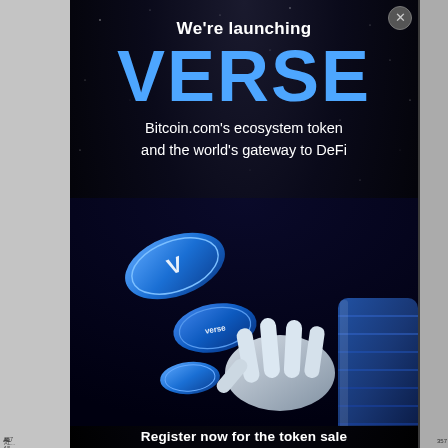[Figure (illustration): Advertisement modal overlay for VERSE token by Bitcoin.com. Dark space-themed background with starfield. Large white bold text reads 'We're launching' followed by large blue bold text 'VERSE'. Subtext reads 'Bitcoin.com's ecosystem token and the world's gateway to DeFi'. Bottom half shows a robotic/cyborg hand holding blue VERSE coin tokens. Bottom text reads 'Register now for the token sale'. Close button (X) in top right corner. Behind the modal are partially visible gray article page elements.]